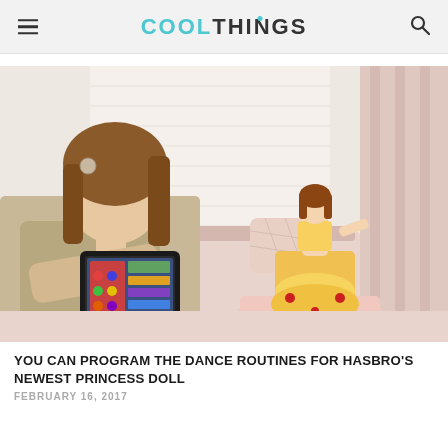COOLTHINGS
[Figure (photo): A girl holding a tablet with a colorful app interface, looking at a Belle princess doll (from Beauty and the Beast) in a yellow gown posed on a pink table in a pink room setting.]
YOU CAN PROGRAM THE DANCE ROUTINES FOR HASBRO'S NEWEST PRINCESS DOLL
FEBRUARY 16, 2017